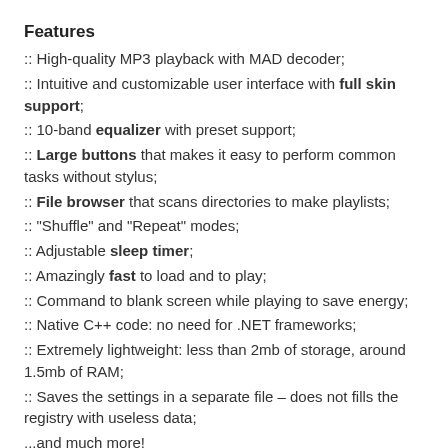Features
:: High-quality MP3 playback with MAD decoder;
:: Intuitive and customizable user interface with full skin support;
:: 10-band equalizer with preset support;
:: Large buttons that makes it easy to perform common tasks without stylus;
:: File browser that scans directories to make playlists;
:: "Shuffle" and "Repeat" modes;
:: Adjustable sleep timer;
:: Amazingly fast to load and to play;
:: Command to blank screen while playing to save energy;
:: Native C++ code: no need for .NET frameworks;
:: Extremely lightweight: less than 2mb of storage, around 1.5mb of RAM;
:: Saves the settings in a separate file – does not fills the registry with useless data;
...and much more!
So head on over to XDA to download and get more information.